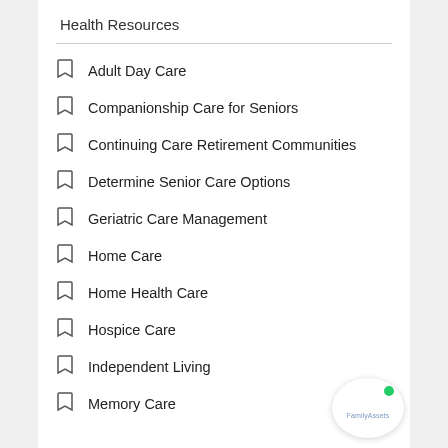Health Resources
Adult Day Care
Companionship Care for Seniors
Continuing Care Retirement Communities
Determine Senior Care Options
Geriatric Care Management
Home Care
Home Health Care
Hospice Care
Independent Living
Memory Care